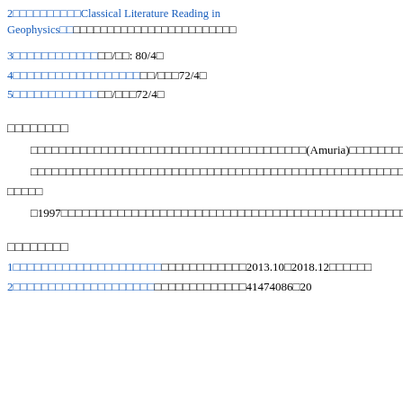2□□□□□□□□□□Classical Literature Reading in Geophysics□□□□□□□□□□□□□□□□□□□□□□□□□□□□
3□□□□□□□□□□□□/□□: 80/4□
4□□□□□□□□□□□□□□□□□□/□□□72/4□
5□□□□□□□□□□□□/□□□72/4□
□□□□□□□□
□□□□□□□□□□□□□□□□□□□□□□□□□□□□□□□□□□□□□□□(Amuria)□□□□□□□□□□□□□□□□□GPS□□□□□□□□□□□□□□□□□□□□□□□□□□□□□Nature□JGR□EPS
□□□□□□□□□□□□□□□□□□□□□□□□□□□□□□□□□□□□□□□□□□□□□□□□□□□□□□□□□□□□□□□□□□□□□□□□□□□□□□□□□□□□□□□□□□□□□□□□□□□□□□□□□□□□□
□1997□□□□□□□□□□□□□□□□□□□□□□□□□□□□□□□□□□□□□□□□□□□□□□□□□□□□□□□□□□□□□□□□□□□□□
□□□□□□□□
1□□□□□□□□□□□□□□□□□□□□□□□□□□□□□□□□2013.10□2018.12□□□□□□
2□□□□□□□□□□□□□□□□□□□□□□□□□□□□□□□□□41474086□20